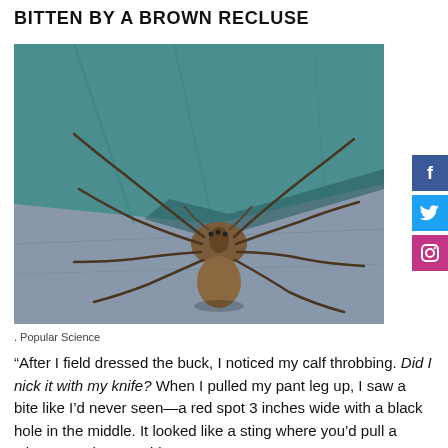BITTEN BY A BROWN RECLUSE
[Figure (photo): Close-up photo of a brown recluse spider sitting between teal and gray-blue fabric/denim, showing long spindly legs and brown body.]
. Popular Science
“After I field dressed the buck, I noticed my calf throbbing. Did I nick it with my knife? When I pulled my pant leg up, I saw a bite like I’d never seen—a red spot 3 inches wide with a black hole in the middle. It looked like a sting where you’d pull a stinger out, but I couldn’t see